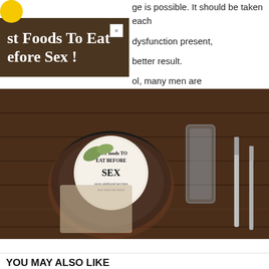[Figure (photo): A restaurant-style place setting on a dark wood table featuring a black plate with a round menu card reading 'BEST foods TO EAT BEFORE SEX', wrapped with greenery/ribbon, alongside a glass of water and silverware (knife and fork).]
ge is possible. It should be taken each dysfunction present, better result.
ol, many men are vement in erection vature of the penis. sexual benefits, but m and overall
n on if the P-shot ct us at 540-374-
st Foods To Eat efore Sex !
YOU MAY ALSO LIKE